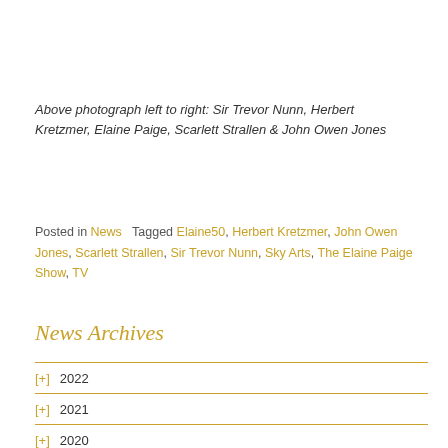Above photograph left to right: Sir Trevor Nunn, Herbert Kretzmer, Elaine Paige, Scarlett Strallen & John Owen Jones
Posted in News   Tagged Elaine50, Herbert Kretzmer, John Owen Jones, Scarlett Strallen, Sir Trevor Nunn, Sky Arts, The Elaine Paige Show, TV
News Archives
[+] 2022
[+] 2021
[+] 2020
[+] 2019